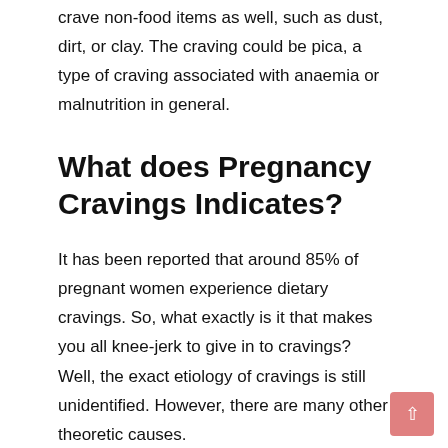crave non-food items as well, such as dust, dirt, or clay. The craving could be pica, a type of craving associated with anaemia or malnutrition in general.
What does Pregnancy Cravings Indicates?
It has been reported that around 85% of pregnant women experience dietary cravings. So, what exactly is it that makes you all knee-jerk to give in to cravings? Well, the exact etiology of cravings is still unidentified. However, there are many other theoretic causes.
1). Nutritional Deficiency